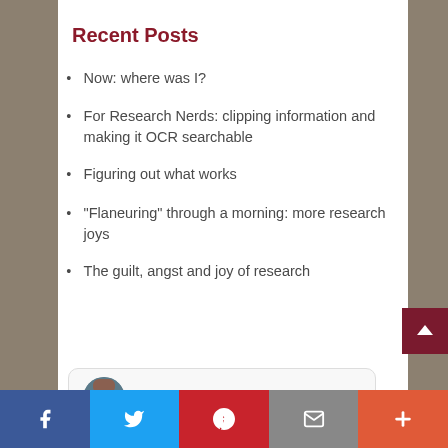Recent Posts
Now: where was I?
For Research Nerds: clipping information and making it OCR searchable
Figuring out what works
“Flaneuring” through a morning: more research joys
The guilt, angst and joy of research
Sandra Gulland